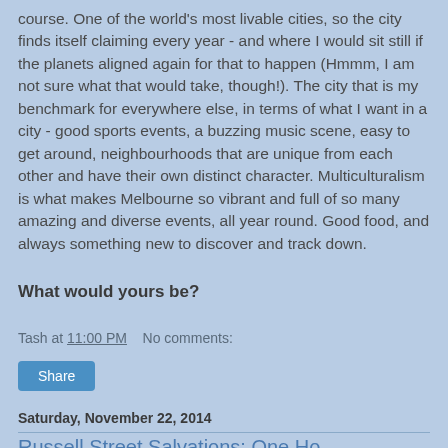course. One of the world's most livable cities, so the city finds itself claiming every year - and where I would sit still if the planets aligned again for that to happen (Hmmm, I am not sure what that would take, though!). The city that is my benchmark for everywhere else, in terms of what I want in a city - good sports events, a buzzing music scene, easy to get around, neighbourhoods that are unique from each other and have their own distinct character. Multiculturalism is what makes Melbourne so vibrant and full of so many amazing and diverse events, all year round. Good food, and always something new to discover and track down.
What would yours be?
Tash at 11:00 PM    No comments:
Share
Saturday, November 22, 2014
Russell Street Salvations: One Ho...